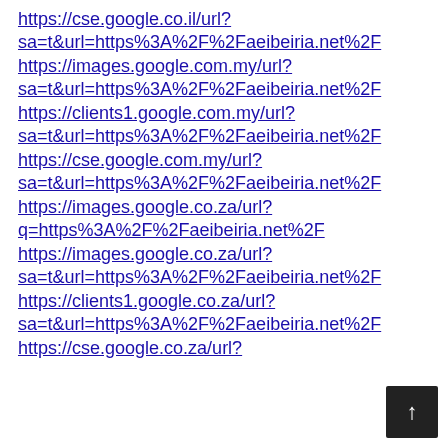https://cse.google.co.il/url?sa=t&url=https%3A%2F%2Faeibeiria.net%2F
https://images.google.com.my/url?sa=t&url=https%3A%2F%2Faeibeiria.net%2F
https://clients1.google.com.my/url?sa=t&url=https%3A%2F%2Faeibeiria.net%2F
https://cse.google.com.my/url?sa=t&url=https%3A%2F%2Faeibeiria.net%2F
https://images.google.co.za/url?q=https%3A%2F%2Faeibeiria.net%2F
https://images.google.co.za/url?sa=t&url=https%3A%2F%2Faeibeiria.net%2F
https://clients1.google.co.za/url?sa=t&url=https%3A%2F%2Faeibeiria.net%2F
https://cse.google.co.za/url?